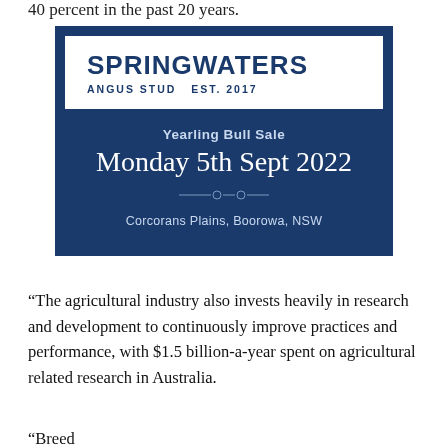40 percent in the past 20 years.
[Figure (infographic): Springwaters Angus Stud advertisement for Yearling Bull Sale on Monday 5th Sept 2022 at Corcorans Plains, Boorowa, NSW. Est. 2017. Dark blue and white design with company name and sale details.]
“The agricultural industry also invests heavily in research and development to continuously improve practices and performance, with $1.5 billion-a-year spent on agricultural related research in Australia.
“Breeder